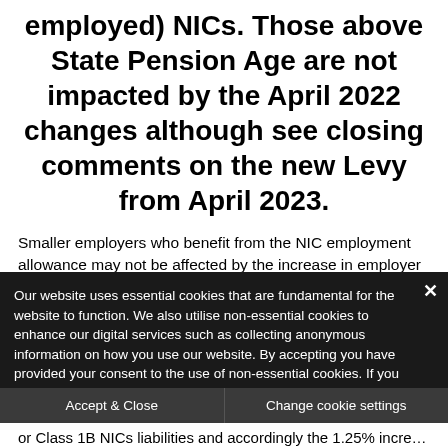employed) NICs. Those above State Pension Age are not impacted by the April 2022 changes although see closing comments on the new Levy from April 2023.
Smaller employers who benefit from the NIC employment allowance may not be affected by the increase in employer
Our website uses essential cookies that are fundamental for the website to function. We also utilise non-essential cookies to enhance our digital services such as collecting anonymous information on how you use our website. By accepting you have provided your consent to the use of non-essential cookies. If you would like to change this, please click on 'Change cookie settings'.
Accept & Close
Change cookie settings
or Class 1B NICs liabilities and accordingly the 1.25% increase